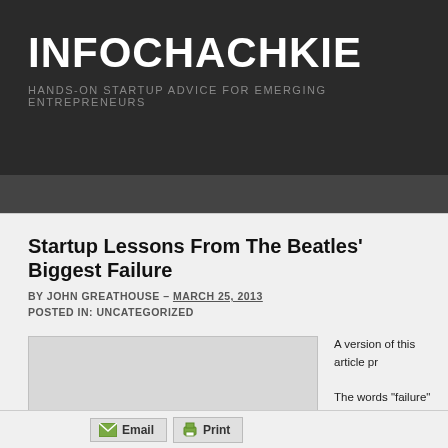INFOCHACHKIE
HANDS-ON STARTUP ADVICE FOR EMERGING ENTREPRENEURS
Startup Lessons From The Beatles' Biggest Failure
BY JOHN GREATHOUSE – MARCH 25, 2013
POSTED IN: UNCATEGORIZED
[Figure (photo): Image placeholder for article]
A version of this article pr...

The words "failure" and "t... sentence. However, the B... failures, culminating in the... leading record company o... particular failure nearly ca...
Email   Print